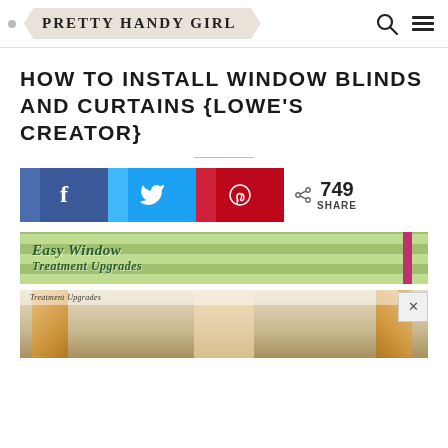PRETTY HANDY GIRL
HOW TO INSTALL WINDOW BLINDS AND CURTAINS {LOWE'S CREATOR}
749 SHARE
[Figure (photo): Easy Window Treatment Upgrades — photo showing window curtains and a green checkered valance banner]